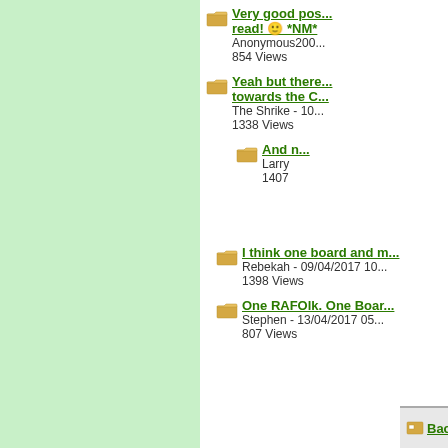Very good pos... read! :) *NM* - Anonymous200... - 854 Views
Yeah but there... towards the C... - The Shrike - 10... - 1338 Views
And n... - Larry - 1407
I think one board and m... - Rebekah - 09/04/2017 10... - 1398 Views
One RAFOlk. One Boar... - Stephen - 13/04/2017 05... - 807 Views
Back to Messageboard | Post...